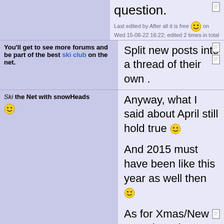question.
Last edited by After all it is free 😀 on Wed 15-06-22 16:22; edited 2 times in total
You'll get to see more forums and be part of the best ski club on the net.
Split new posts into a thread of their own .
Ski the Net with snowHeads 😀
Anyway, what I said about April still hold true 😀

And 2015 must have been like this year as well then 😀

As for Xmas/New Year that's just a lottery I'm afraid as to whether you'll get picture-postcard snow in the village-type conditions but there's usually adequate cover on the pistes.

And if only going for one week, choose